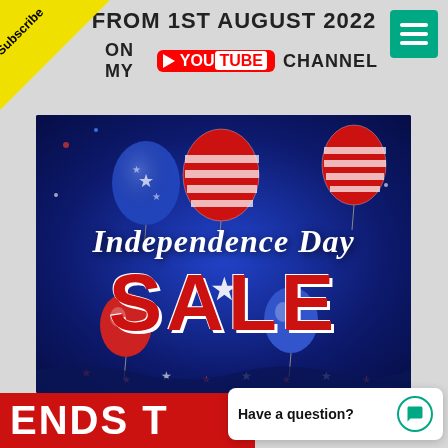Subscribe
FROM 1ST AUGUST 2022
ON MY YouTube CHANNEL
[Figure (illustration): Independence Day Sale promotional banner with red, white and blue balloons, patriotic theme with 'Independence Day SALE' text on dark blue background]
ENDS T
Have a question?